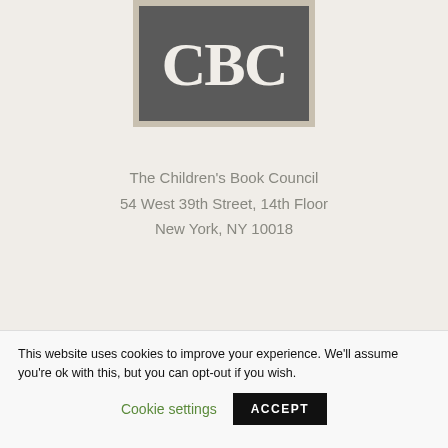[Figure (logo): CBC (Children's Book Council) logo — large white serif letters 'CBC' on a dark gray square background with a light border]
The Children's Book Council
54 West 39th Street, 14th Floor
New York, NY 10018
This website uses cookies to improve your experience. We'll assume you're ok with this, but you can opt-out if you wish.
Cookie settings    ACCEPT